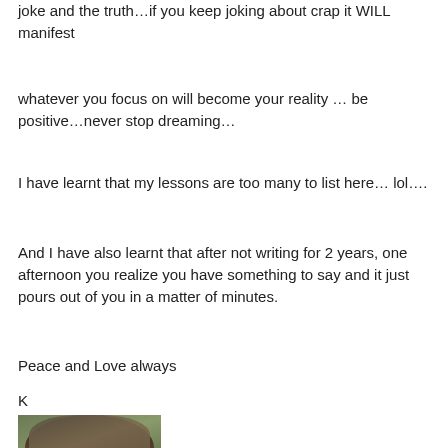joke and the truth…if you keep joking about crap it WILL manifest
whatever you focus on will become your reality … be positive…never stop dreaming…
I have learnt that my lessons are too many to list here… lol….
And I have also learnt that after not writing for 2 years, one afternoon you realize you have something to say and it just pours out of you in a matter of minutes.
Peace and Love always
K
[Figure (photo): Partial photo of a person wearing a hat, with green foliage in background, cropped at bottom of page]